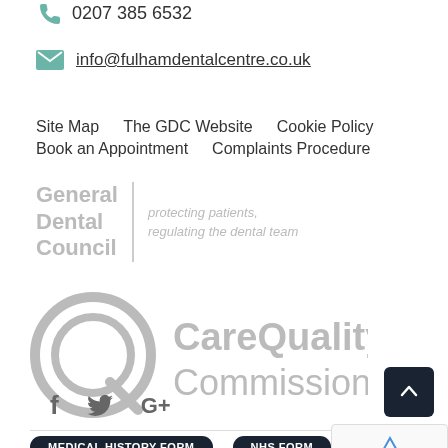0207 385 6532
info@fulhamdentalcentre.co.uk
Site Map   The GDC Website   Cookie Policy
Book an Appointment   Complaints Procedure
[Figure (logo): General Dental Council logo - grey text reading 'General Dental Council' with vertical divider and italic text 'protecting patients, regulating the dental team']
[Figure (logo): Care Quality Commission logo - grey circular Q icon with grey text 'CareQuality Commission']
[Figure (other): Social media icons: Facebook (f), Twitter (bird), Google+ (G+)]
[Figure (other): Scroll to top button - dark navy square with upward chevron arrow]
[Figure (other): reCAPTCHA badge with Privacy and Terms text]
MEDICAL HISTORY FORM
NHS FORM